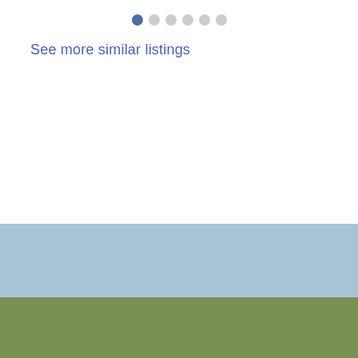[Figure (other): Navigation dots (pagination indicator): one filled dark blue dot followed by five empty grey dots]
See more similar listings
[Figure (other): Light blue banner section with a grey Facebook button (f icon) on the right side]
Copyright 2022 All rights reserved. Toronto Real Estate Board (TREB) assumes no responsibility for the accuracy of any information shown. The information provided herein must only be used by consumers that have a bona fide interest in the purchase, sale or lease of real estate and may not be used for any commercial purpose or any other purpose.
Fiorella Cribari and Les Raffay | Broker / Sales Representative | SUTTON GROUP REALTY SYSTEMS INC., BROKERAGE Independently Owned & Operated | 416 762-4200 | 2186 Bloor St West Toronto M6S 1N3
| Terms of Use | Privacy Policy | Register | Login
[Figure (logo): AgentLocator logo in serif font on dark olive/green background, bottom right]